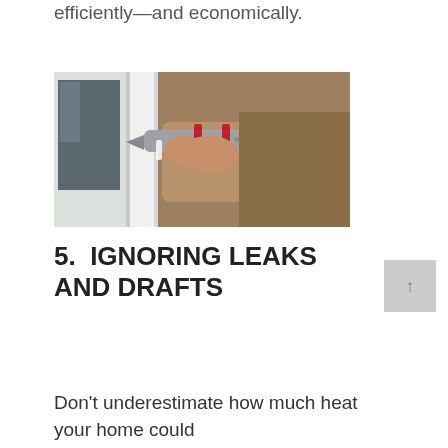efficiently—and economically.
[Figure (photo): A person in a brown jacket using a caulking gun to seal the edge of a white window frame.]
5.  IGNORING LEAKS AND DRAFTS
Don't underestimate how much heat your home could